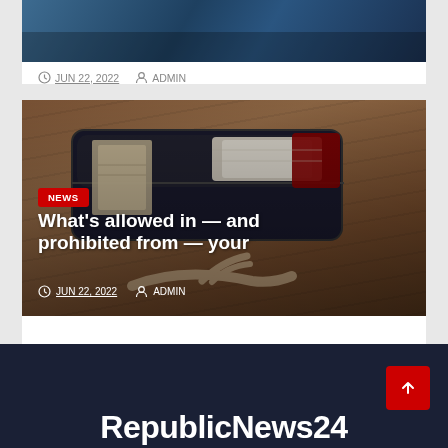[Figure (photo): Partial top image strip showing two women, partially cropped. Blue/dark tones.]
JUN 22, 2022  ADMIN
[Figure (photo): Open suitcase being packed with clothes on a wooden floor background. Overhead view.]
NEWS
What's allowed in — and prohibited from — your
JUN 22, 2022  ADMIN
RepublicNews24